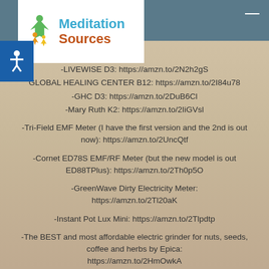Meditation Sources
-LIVEWISE D3: https://amzn.to/2N2h2gS
GLOBAL HEALING CENTER B12: https://amzn.to/2I84u78
-GHC D3: https://amzn.to/2DuB6Cl
-Mary Ruth K2: https://amzn.to/2IiGVsl
-Tri-Field EMF Meter (I have the first version and the 2nd is out now): https://amzn.to/2UncQtf
-Cornet ED78S EMF/RF Meter (but the new model is out ED88TPlus): https://amzn.to/2Th0p5O
-GreenWave Dirty Electricity Meter: https://amzn.to/2Tl20aK
-Instant Pot Lux Mini: https://amzn.to/2Tlpdtp
-The BEST and most affordable electric grinder for nuts, seeds, coffee and herbs by Epica: https://amzn.to/2HmOwkA
Organic undyed cotton material for sewing: